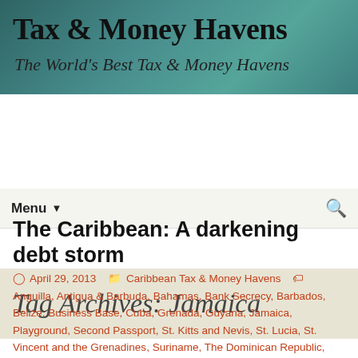Tax & Money Havens
The World's Best Tax & Money Havens
Menu
Tag Archives: Jamaica
The Caribbean: A darkening debt storm
April 29, 2013  Caribbean Tax & Money Havens  Anguilla, Antigua & Barbuda, Bahamas, Bank Secrecy, Barbados, Belize, Business Base, Cuba, Grenada, Guyana, Jamaica, Playground, Second Passport, St. Kitts and Nevis, St. Lucia, St. Vincent and the Grenadines, Suriname, The Dominican Republic, Trinidad & Tobago  Author